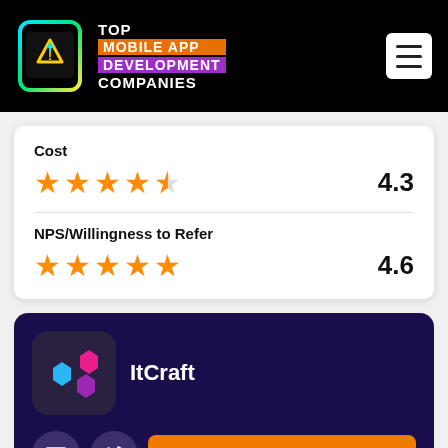[Figure (logo): Top Mobile App Development Companies logo with colorful phone icon]
Cost
4.3
NPS/Willingness to Refer
4.6
[Figure (logo): ItCraft company logo with colored hexagons on dark background]
ItCraft
VISIT WEBSITE